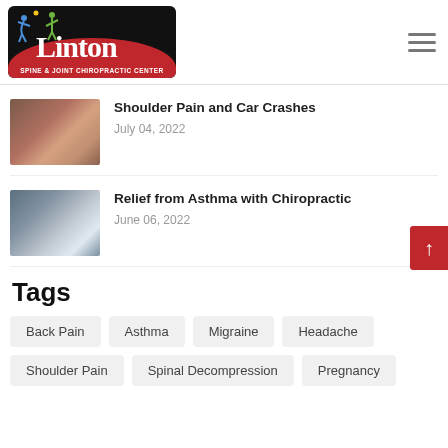[Figure (logo): Linton Spine & Joint Chiropractic Center logo on black background with red arc]
[Figure (photo): Photo of a shoulder, skin-toned close-up]
Shoulder Pain and Car Crashes
July 04, 2022
[Figure (photo): Photo of a couple, man and woman smiling, blue/grey tones]
Relief from Asthma with Chiropractic
June 06, 2022
Tags
Back Pain
Asthma
Migraine
Headache
Shoulder Pain
Spinal Decompression
Pregnancy